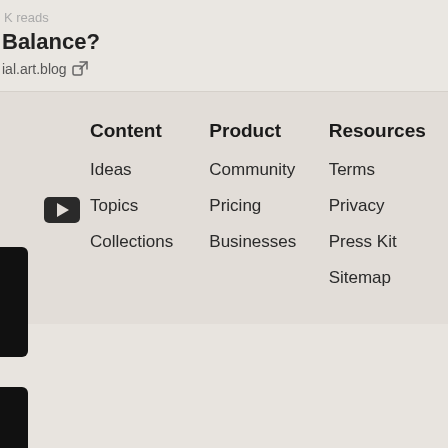K reads
Balance?
ial.art.blog
Content
Product
Resources
Ideas
Topics
Collections
Community
Pricing
Businesses
Terms
Privacy
Press Kit
Sitemap